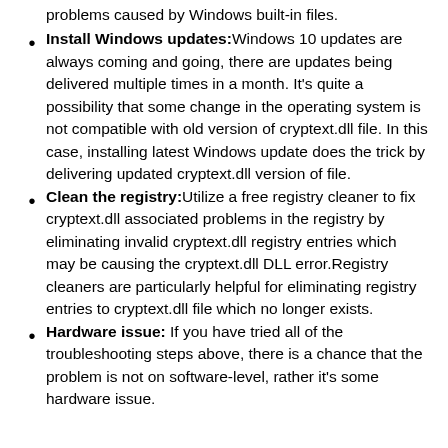problems caused by Windows built-in files.
Install Windows updates: Windows 10 updates are always coming and going, there are updates being delivered multiple times in a month. It's quite a possibility that some change in the operating system is not compatible with old version of cryptext.dll file. In this case, installing latest Windows update does the trick by delivering updated cryptext.dll version of file.
Clean the registry: Utilize a free registry cleaner to fix cryptext.dll associated problems in the registry by eliminating invalid cryptext.dll registry entries which may be causing the cryptext.dll DLL error. Registry cleaners are particularly helpful for eliminating registry entries to cryptext.dll file which no longer exists.
Hardware issue: If you have tried all of the troubleshooting steps above, there is a chance that the problem is not on software-level, rather it's some hardware issue.